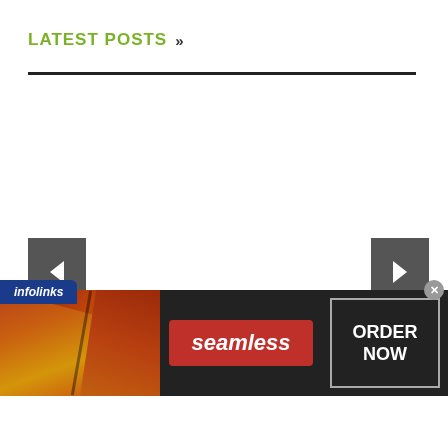LATEST POSTS »
[Figure (screenshot): Carousel navigation area — left arrow button (gray square with left-pointing triangle) and right arrow button (gray square with right-pointing triangle), with empty white content area between them]
[Figure (infographic): Infolinks advertisement banner for Seamless food ordering showing pizza images on the left, a red Seamless logo badge in the center, and an ORDER NOW button on the right with a dark background]